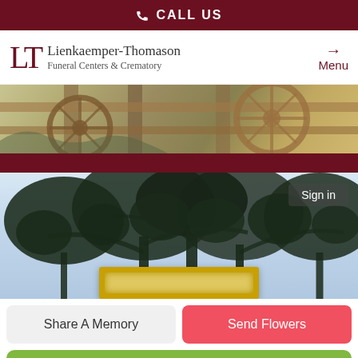CALL US
[Figure (logo): Lienkaemper-Thomason Funeral Centers & Crematory logo with LT monogram]
[Figure (photo): Wagon wheels and rustic scene banner image with dark red stripe]
[Figure (photo): Memorial photo area with tree silhouette, Sign in button, and gold ornate frame at bottom]
Share A Memory
Send Flowers
Plant A Tree